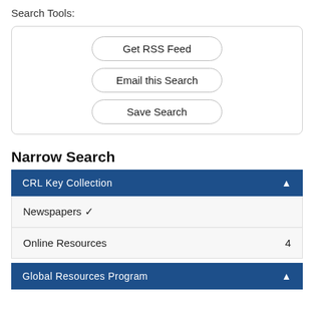Search Tools:
Get RSS Feed
Email this Search
Save Search
Narrow Search
CRL Key Collection ▲
Newspapers ✓
Online Resources 4
Global Resources Program ▲